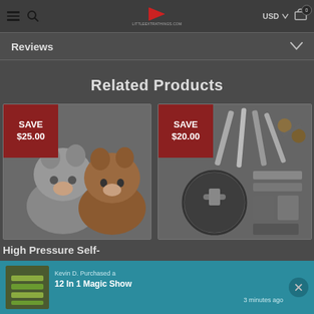USD  0
Reviews
Related Products
[Figure (photo): Talking hamster plush toys — two stuffed animal hamsters, one gray and one brown. Save $25.00 badge in top-left corner.]
[Figure (photo): High pressure self-inflating tool kit / valve set with multiple tools shown. Save $20.00 badge in top-left corner.]
High Pressure Self-
[Figure (photo): Green slicer/mandoline product image thumbnail in the notification bar at bottom.]
Kevin D. Purchased a
12 In 1 Magic Show
3 minutes ago